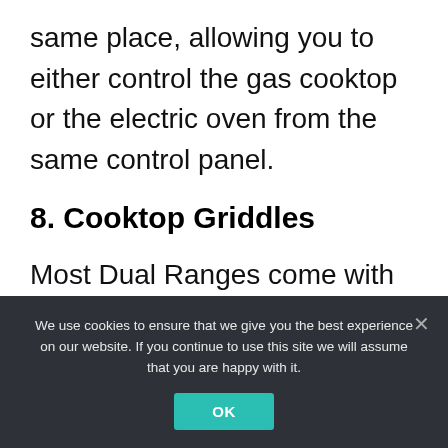same place, allowing you to either control the gas cooktop or the electric oven from the same control panel.
8. Cooktop Griddles
Most Dual Ranges come with cooktop griddles, which eliminate the need for extra cookware. The Griddles allow you to cook burgers, vegetables, sandwiches, etc.
We use cookies to ensure that we give you the best experience on our website. If you continue to use this site we will assume that you are happy with it.